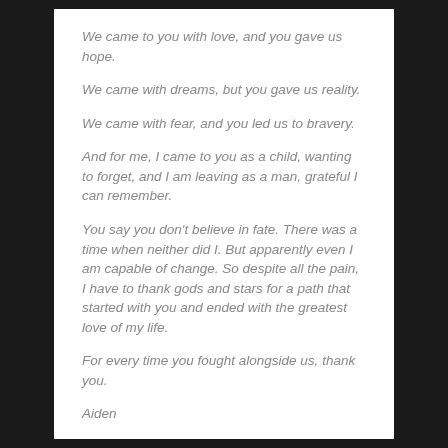We came to you with love, and you gave us hope.
We came with dreams, but you gave us reality.
We came with fear, and you led us to bravery.
And for me, I came to you as a child, wanting to forget, and I am leaving as a man, grateful I can remember.
You say you don't believe in fate. There was a time when neither did I. But apparently even I am capable of change. So despite all the pain, I have to thank gods and stars for a path that started with you and ended with the greatest love of my life.
For every time you fought alongside us, thank you.
Aiden